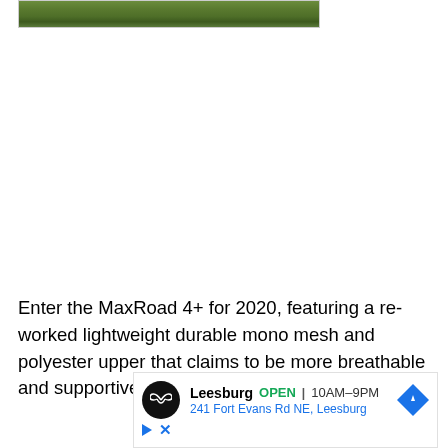[Figure (photo): Partial view of a green artificial grass or turf surface, cropped at the top of the page]
Enter the MaxRoad 4+ for 2020, featuring a re-worked lightweight durable mono mesh and polyester upper that claims to be more breathable and supportive. The rest of the
[Figure (other): Advertisement for a Leesburg store location. Shows a circular black logo with infinity/spectacles symbol, store name 'Leesburg', OPEN status in green, hours '10AM-9PM', address '241 Fort Evans Rd NE, Leesburg' in blue, and a blue diamond-shaped navigation arrow icon. Below are play and close buttons.]